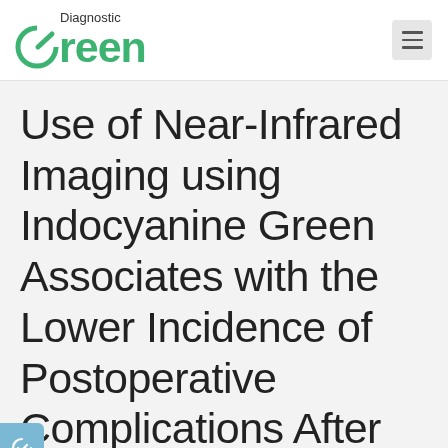Diagnostic Green
Use of Near-Infrared Imaging using Indocyanine Green Associates with the Lower Incidence of Postoperative Complications After Surgery for Intestinal